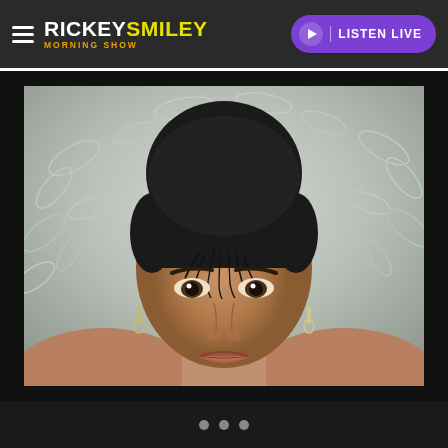RICKEY SMILEY MORNING SHOW — LISTEN LIVE
[Figure (photo): Vintage black and white portrait photograph of a young woman with a smooth upswept hairstyle, wispy tendrils on the forehead, wearing drop earrings, looking directly at the camera with a neutral expression, against a floral patterned backdrop. Photo has a film slide/transparency border effect.]